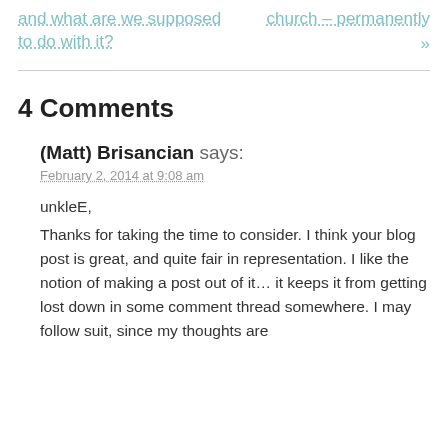and what are we supposed to do with it?
church – permanently »
4 Comments
(Matt) Brisancian says:
February 2, 2014 at 9:08 am
unkleE,
Thanks for taking the time to consider. I think your blog post is great, and quite fair in representation. I like the notion of making a post out of it… it keeps it from getting lost down in some comment thread somewhere. I may follow suit, since my thoughts are